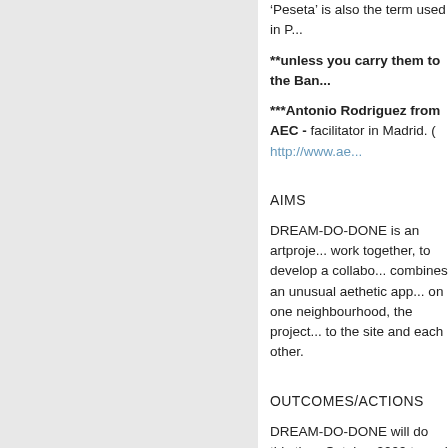* 'Peseta' is also the term used in P...
**unless you carry them to the Ban...
***Antonio Rodriguez from AEC - facilitator in Madrid. ( http://www.ae...
AIMS
DREAM-DO-DONE is an artproje... work together, to develop a collabo... combines an unusual aethetic app... on one neighbourhood, the project... to the site and each other.
OUTCOMES/ACTIONS
DREAM-DO-DONE will do this thr... October 2009 to end of February 2...
A collection site will be on a public... also to visualize wishes. For the sa...